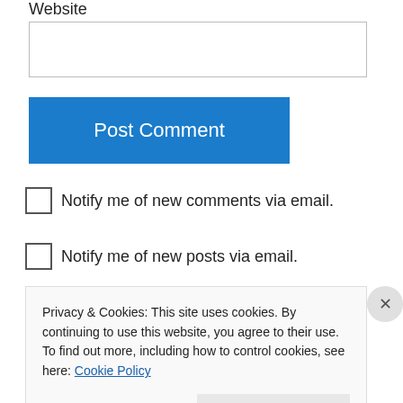Website
[Figure (other): Website text input field (empty)]
[Figure (other): Post Comment button (blue)]
Notify me of new comments via email.
Notify me of new posts via email.
And let the beauty of the Lord our God be upon us, And establish the work of our hands for us; Yes, establish the work of our hands. Psalm
Privacy & Cookies: This site uses cookies. By continuing to use this website, you agree to their use.
To find out more, including how to control cookies, see here: Cookie Policy
Close and accept